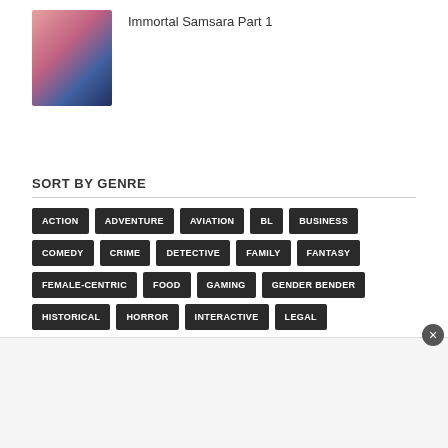[Figure (photo): Thumbnail image of two people, one in pink and one in dark clothing, from drama Immortal Samsara Part 1]
Immortal Samsara Part 1
SORT BY GENRE
ACTION
ADVENTURE
AVIATION
BL
BUSINESS
COMEDY
CRIME
DETECTIVE
FAMILY
FANTASY
FEMALE-CENTRIC
FOOD
GAMING
GENDER BENDER
HISTORICAL
HORROR
INTERACTIVE
LEGAL